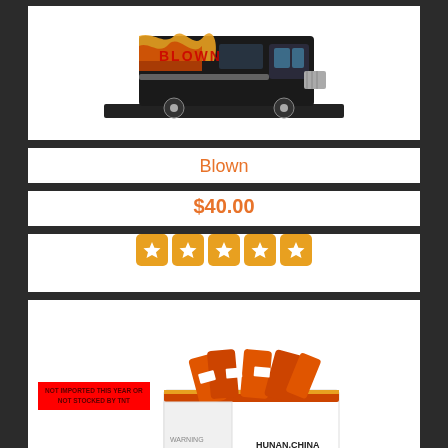[Figure (photo): Toy truck with flame graphics on a black base, top portion of product card]
Blown
$40.00
[Figure (other): Five orange star rating badges]
[Figure (photo): Box of Bombing Plane fireworks made in Hunan, China, with orange firework items visible. Red warning label overlay reading: NOT IMPORTED THIS YEAR OR NOT STOCKED BY TNT]
Bombing Planes
$10.00